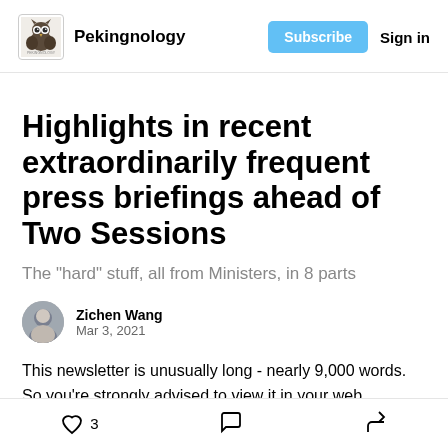Pekingnology | Subscribe | Sign in
Highlights in recent extraordinarily frequent press briefings ahead of Two Sessions
The "hard" stuff, all from Ministers, in 8 parts
Zichen Wang
Mar 3, 2021
This newsletter is unusually long - nearly 9,000 words. So you're strongly advised to view it in your web
3 likes | comment | share